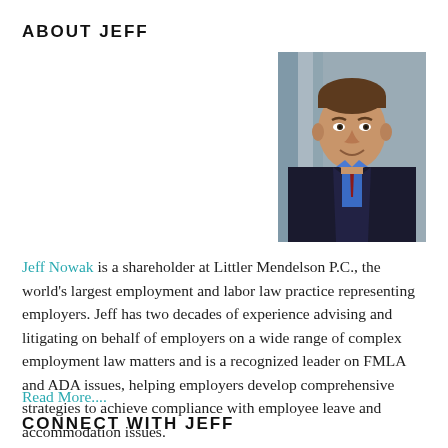ABOUT JEFF
[Figure (photo): Professional headshot of Jeff Nowak, a man in a suit and tie, smiling, set against a blurred background.]
Jeff Nowak is a shareholder at Littler Mendelson P.C., the world's largest employment and labor law practice representing employers. Jeff has two decades of experience advising and litigating on behalf of employers on a wide range of complex employment law matters and is a recognized leader on FMLA and ADA issues, helping employers develop comprehensive strategies to achieve compliance with employee leave and accommodation issues.
Read More....
CONNECT WITH JEFF